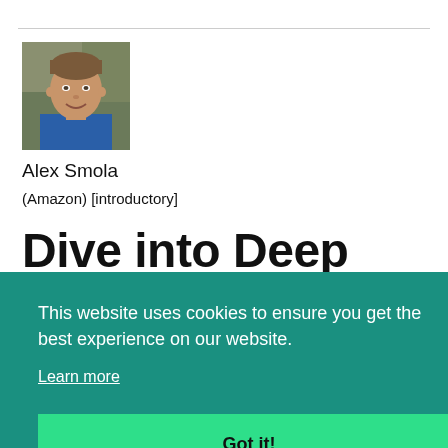[Figure (photo): Headshot photo of Alex Smola, a man with short brown hair, smiling, wearing a blue jacket, outdoors background]
Alex Smola
(Amazon) [introductory]
Dive into Deep Learning
This website uses cookies to ensure you get the best experience on our website.
Learn more
Got it!